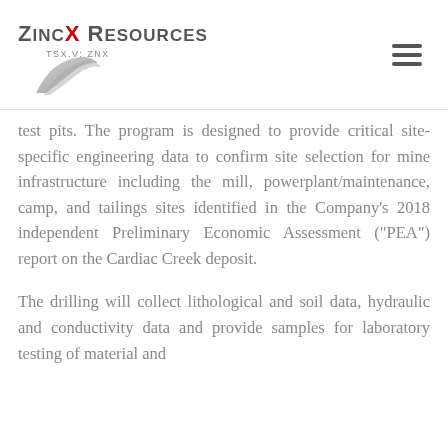ZincX Resources TSX.V: ZNX
test pits. The program is designed to provide critical site-specific engineering data to confirm site selection for mine infrastructure including the mill, powerplant/maintenance, camp, and tailings sites identified in the Company's 2018 independent Preliminary Economic Assessment ("PEA") report on the Cardiac Creek deposit.
The drilling will collect lithological and soil data, hydraulic and conductivity data and provide samples for laboratory testing of material and